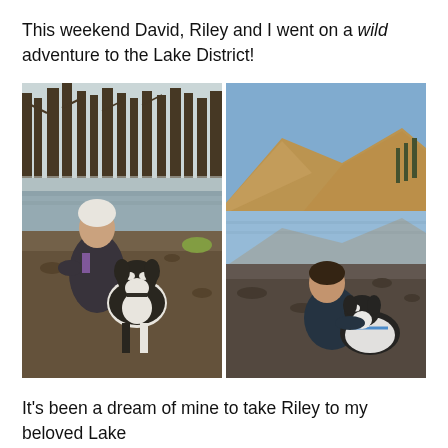This weekend David, Riley and I went on a wild adventure to the Lake District!
[Figure (photo): Two side-by-side outdoor photos by a lake. Left: A woman in a white beanie and dark jacket crouching next to a black-and-white Border Collie dog by a lakeside with trees in the background. Right: A man in a dark jacket sitting beside the same dog (now wearing a white coat/harness) by the same lake with hills in the background under a clear blue sky.]
It's been a dream of mine to take Riley to my beloved Lake